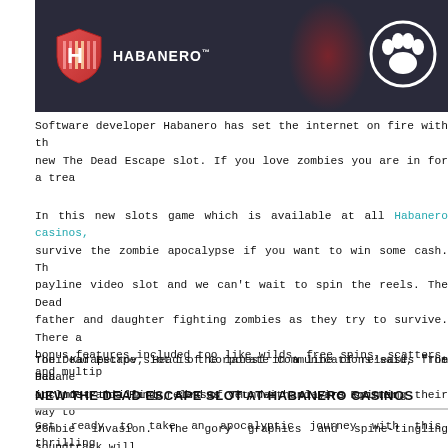[Figure (photo): Habanero game banner showing the Habanero logo with shield icon on dark background with paw print icon on right]
Software developer Habanero has set the internet on fire with the new The Dead Escape slot. If you love zombies you are in for a treat.
In this new slots game which is available at all Habanero casinos, survive the zombie apocalypse if you want to win some cash. The payline video slot and we can't wait to spin the reels. The Dead father and daughter fighting zombies as they try to survive. There a bonus features included too like wilds, free spins, scatters, and multip
Toni Karapetrov, Head of Corporate Communications said, "The Dea our most thrilling releases yet, with players spinning their way to zombie invasion. The gory graphics and spine-tingling soundtrack will knife-edge, in what is sure to be an intense gaming experience."
The Dead Escape slot is the latest in a line of releases from Habane include Panda Panda, Bird of Thunder, and Fire Rooster.
NEW THE DEAD ESCAPE SLOT AT HABANERO CASINOS
Get ready to take an apocalyptic journey with this thrilling